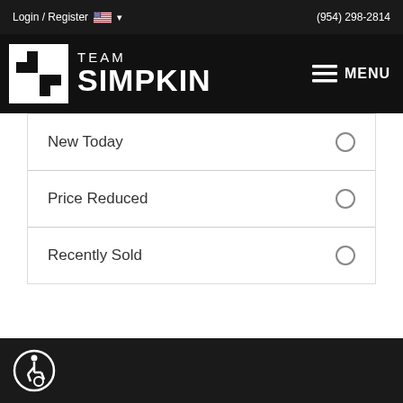Login / Register  (954) 298-2814
[Figure (logo): Team Simpkin logo with stylized S icon and text TEAM SIMPKIN, with hamburger MENU button on right]
New Today
Price Reduced
Recently Sold
Accessibility icon in footer